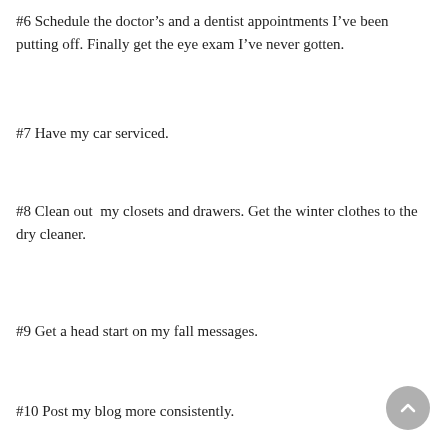#6 Schedule the doctor's and a dentist appointments I've been putting off. Finally get the eye exam I've never gotten.
#7 Have my car serviced.
#8 Clean out  my closets and drawers. Get the winter clothes to the dry cleaner.
#9 Get a head start on my fall messages.
#10 Post my blog more consistently.